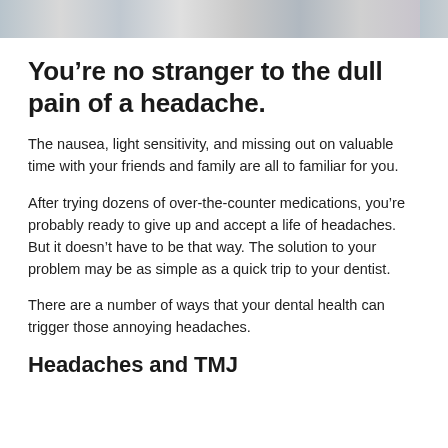[Figure (photo): Photo strip at top of page showing people, partially cropped]
You’re no stranger to the dull pain of a headache.
The nausea, light sensitivity, and missing out on valuable time with your friends and family are all to familiar for you.
After trying dozens of over-the-counter medications, you’re probably ready to give up and accept a life of headaches. But it doesn’t have to be that way. The solution to your problem may be as simple as a quick trip to your dentist.
There are a number of ways that your dental health can trigger those annoying headaches.
Headaches and TMJ